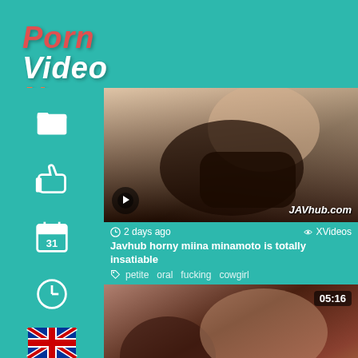Porn Video Now
Search xxx and porn videos...
[Figure (screenshot): Video thumbnail showing a person, with JAVhub.com watermark and flag icon overlay]
2 days ago   XVideos
Javhub horny miina minamoto is totally insatiable
petite  oral  fucking  cowgirl
[Figure (screenshot): Second video thumbnail with 05:16 duration badge]